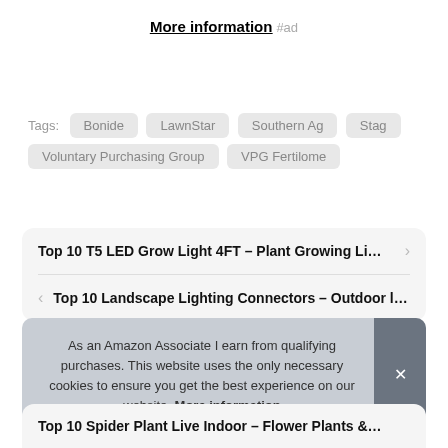More information #ad
Tags: Bonide  LawnStar  Southern Ag  Stag  Voluntary Purchasing Group  VPG Fertilome
Top 10 T5 LED Grow Light 4FT – Plant Growing Li...
Top 10 Landscape Lighting Connectors – Outdoor l...
As an Amazon Associate I earn from qualifying purchases. This website uses the only necessary cookies to ensure you get the best experience on our website. More information
Top 10 Spider Plant Live Indoor – Flower Plants &...